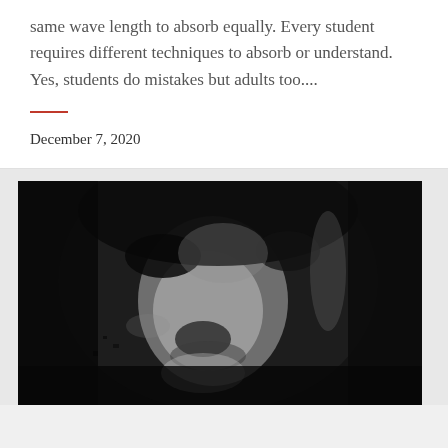same wave length to absorb equally. Every student requires different techniques to absorb or understand. Yes, students do mistakes but adults too....
December 7, 2020
[Figure (photo): Close-up abstract or painterly image of a face rendered in dark tones — black, dark grey, and white — appearing like a smeared or weathered portrait. The features (eyes, nose, mouth area) are barely discernible through heavy dark pigment and white highlights.]